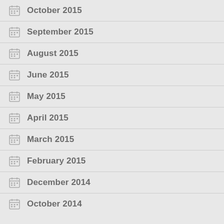October 2015
September 2015
August 2015
June 2015
May 2015
April 2015
March 2015
February 2015
December 2014
October 2014